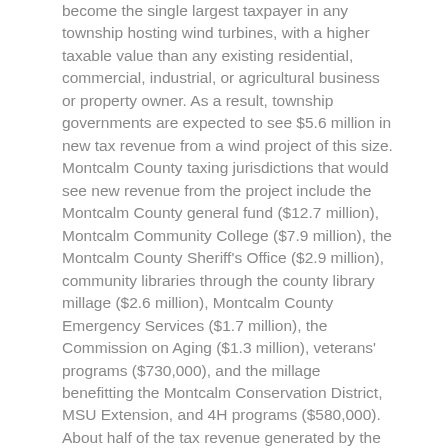become the single largest taxpayer in any township hosting wind turbines, with a higher taxable value than any existing residential, commercial, industrial, or agricultural business or property owner. As a result, township governments are expected to see $5.6 million in new tax revenue from a wind project of this size. Montcalm County taxing jurisdictions that would see new revenue from the project include the Montcalm County general fund ($12.7 million), Montcalm Community College ($7.9 million), the Montcalm County Sheriff's Office ($2.9 million), community libraries through the county library millage ($2.6 million), Montcalm County Emergency Services ($1.7 million), the Commission on Aging ($1.3 million), veterans' programs ($730,000), and the millage benefitting the Montcalm Conservation District, MSU Extension, and 4H programs ($580,000). About half of the tax revenue generated by the project would support education-related millages. The Montcalm Intermediate School District (ISD) would